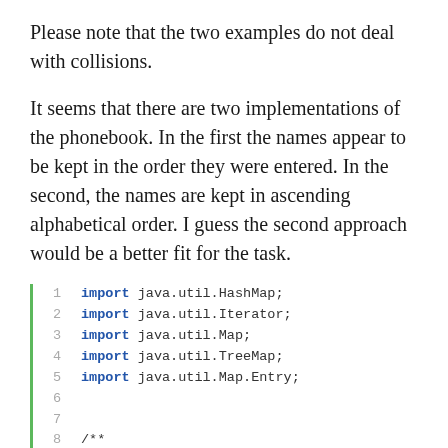Please note that the two examples do not deal with collisions.
It seems that there are two implementations of the phonebook. In the first the names appear to be kept in the order they were entered. In the second, the names are kept in ascending alphabetical order. I guess the second approach would be a better fit for the task.
[Figure (screenshot): Code block showing Java import statements with line numbers 1-9 and a green vertical bar on the left. Lines 1-5 show import statements for java.util.HashMap, Iterator, Map, TreeMap, and Map.Entry. Lines 6-7 are blank. Line 8 starts a Javadoc comment '/**'. Line 9 shows ' * Experiment with dictionaries.']